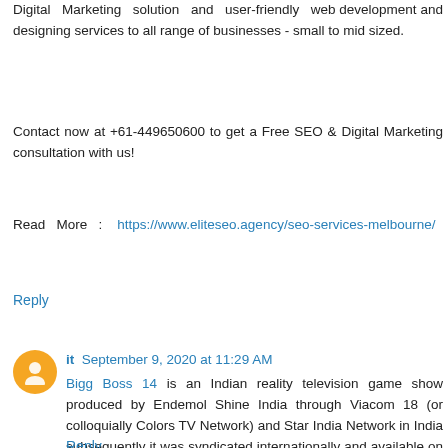Digital Marketing solution and user-friendly web development and designing services to all range of businesses - small to mid sized.
Contact now at +61-449650600 to get a Free SEO & Digital Marketing consultation with us!
Read More : https://www.eliteseo.agency/seo-services-melbourne/
Reply
it  September 9, 2020 at 11:29 AM
Bigg Boss 14 is an Indian reality television game show produced by Endemol Shine India through Viacom 18 (or colloquially Colors TV Network) and Star India Network in India subsequently it was syndicated internationally and available on online as VOD through OTT platforms of Voot and Hotstar.
Reply